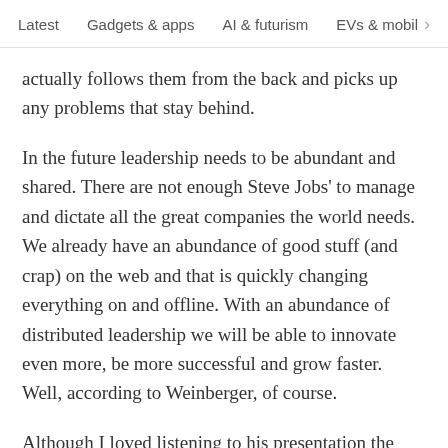Latest   Gadgets & apps   AI & futurism   EVs & mobil  >
actually follows them from the back and picks up any problems that stay behind.
In the future leadership needs to be abundant and shared. There are not enough Steve Jobs' to manage and dictate all the great companies the world needs. We already have an abundance of good stuff (and crap) on the web and that is quickly changing everything on and offline. With an abundance of distributed leadership we will be able to innovate even more, be more successful and grow faster. Well, according to Weinberger, of course.
Although I loved listening to his presentation the